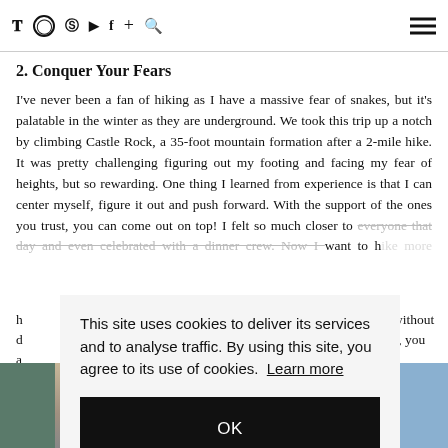Twitter Instagram Pinterest YouTube Facebook + Search [hamburger menu]
2. Conquer Your Fears
I've never been a fan of hiking as I have a massive fear of snakes, but it's palatable in the winter as they are underground. We took this trip up a notch by climbing Castle Rock, a 35-foot mountain formation after a 2-mile hike. It was pretty challenging figuring out my footing and facing my fear of heights, but so rewarding. One thing I learned from experience is that I can center myself, figure it out and push forward. With the support of the ones you trust, you can come out on top! I felt so much closer to everyone that day and even celebrated with a dinner crew. Now I want to h... without d... s, you a...
This site uses cookies to deliver its services and to analyse traffic. By using this site, you agree to its use of cookies. Learn more
OK
[Figure (photo): Photo strip at the bottom showing outdoor scenery, partially obscured by the cookie consent overlay]